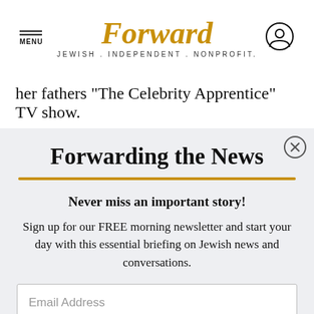MENU | Forward | JEWISH . INDEPENDENT . NONPROFIT.
her fathers "The Celebrity Apprentice" TV show.
Forwarding the News
Never miss an important story!
Sign up for our FREE morning newsletter and start your day with this essential briefing on Jewish news and conversations.
Email Address
SIGN UP TODAY!